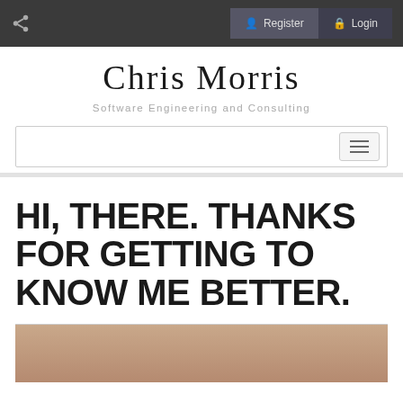Register  Login
Chris Morris
Software Engineering and Consulting
[Figure (screenshot): Navigation bar with hamburger menu button on the right]
HI, THERE. THANKS FOR GETTING TO KNOW ME BETTER.
[Figure (photo): Partial photo of a person with brown/auburn hair, cropped at bottom of page]